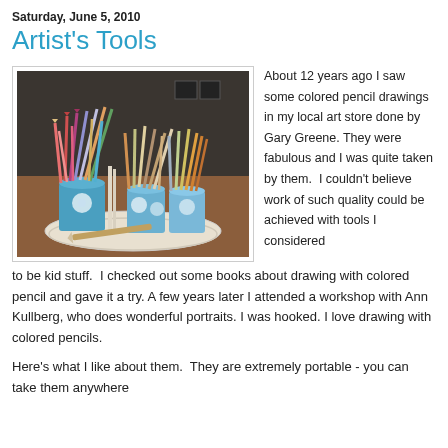Saturday, June 5, 2010
Artist's Tools
[Figure (photo): Photograph of colored pencils arranged in floral-decorated cups on a round tray on a wooden table]
About 12 years ago I saw some colored pencil drawings in my local art store done by Gary Greene. They were fabulous and I was quite taken by them. I couldn't believe work of such quality could be achieved with tools I considered to be kid stuff. I checked out some books about drawing with colored pencil and gave it a try. A few years later I attended a workshop with Ann Kullberg, who does wonderful portraits. I was hooked. I love drawing with colored pencils.
Here's what I like about them. They are extremely portable - you can take them anywhere